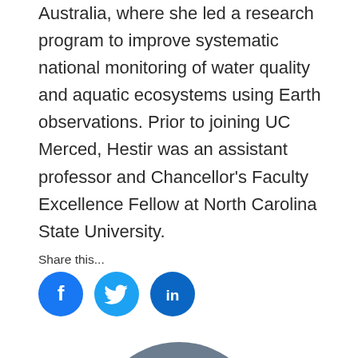Australia, where she led a research program to improve systematic national monitoring of water quality and aquatic ecosystems using Earth observations. Prior to joining UC Merced, Hestir was an assistant professor and Chancellor's Faculty Excellence Fellow at North Carolina State University.
Share this...
[Figure (other): Three social media icons: Facebook (f), Twitter (bird), LinkedIn (in), all circular with blue backgrounds]
[Figure (photo): Circular cropped professional headshot photo of a blonde woman in a gray-background portrait, cropped at the bottom of the page]